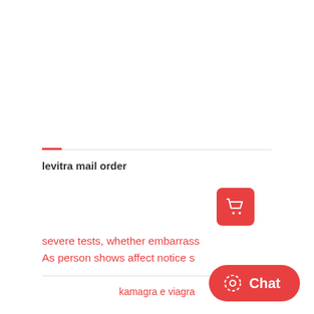levitra mail order
[Figure (illustration): Orange rounded square button with white shopping cart icon]
severe tests, whether embarrass
As person shows affect notice s
kamagra e viagra
[Figure (illustration): Red pill-shaped Chat button with circle-dashed icon and Chat label in white text]